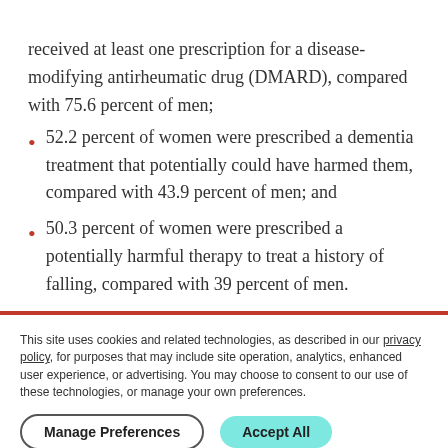received at least one prescription for a disease-modifying antirheumatic drug (DMARD), compared with 75.6 percent of men;
52.2 percent of women were prescribed a dementia treatment that potentially could have harmed them, compared with 43.9 percent of men; and
50.3 percent of women were prescribed a potentially harmful therapy to treat a history of falling, compared with 39 percent of men.
This site uses cookies and related technologies, as described in our privacy policy, for purposes that may include site operation, analytics, enhanced user experience, or advertising. You may choose to consent to our use of these technologies, or manage your own preferences.
Manage Preferences  Accept All